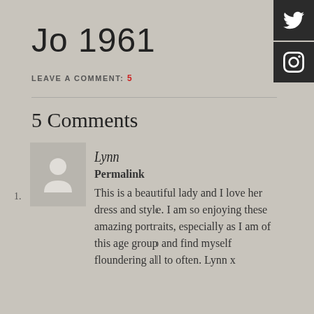Jo 1961
LEAVE A COMMENT: 5
5 Comments
1. Lynn
Permalink
This is a beautiful lady and I love her dress and style. I am so enjoying these amazing portraits, especially as I am of this age group and find myself floundering all to often. Lynn x